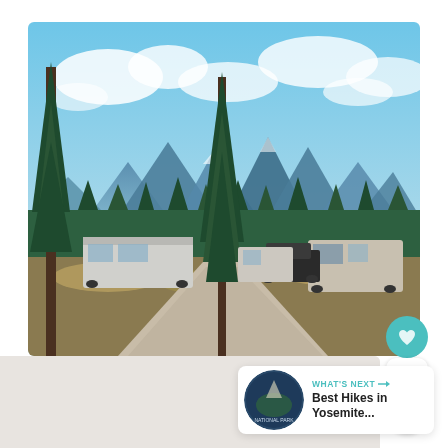[Figure (photo): Outdoor RV park scene with several recreational vehicles parked on a gravel road. A large pine tree stands in the center foreground. Dense evergreen forest forms the middle background, with a dramatic mountain range visible behind it. The sky is blue with scattered white clouds. Dry grassland surrounds the parked RVs.]
RV Parks Near Yosemite
[Figure (photo): Thumbnail image for 'Best Hikes in Yosemite' article showing a circular badge with Yosemite National Park imagery.]
WHAT'S NEXT → Best Hikes in Yosemite...